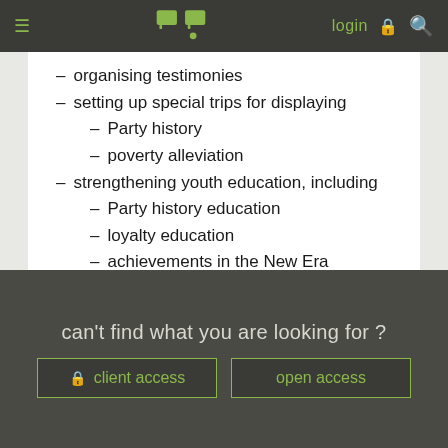login | [search icon] [menu icon]
– organising testimonies
– setting up special trips for displaying
– Party history
– poverty alleviation
– strengthening youth education, including
– Party history education
– loyalty education
– achievements in the New Era
– civil celebrations
citizen participation 公民参与
can't find what you are looking for ?
client access
open access